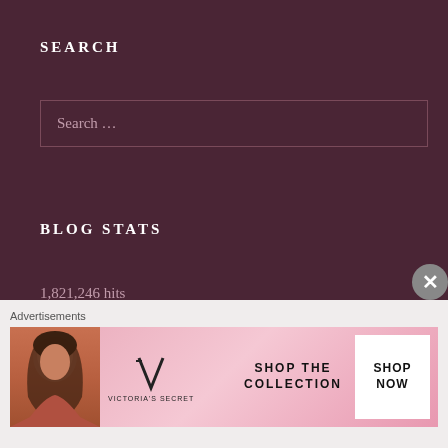SEARCH
Search ...
BLOG STATS
1,821,246 hits
LATEST POSTS FROM OUR NEW WEBSITE: CATHOLICS STRIVING FOR HOLINESS
Advertisements
[Figure (photo): Victoria's Secret advertisement banner with model and 'SHOP THE COLLECTION' text and 'SHOP NOW' button on pink background]